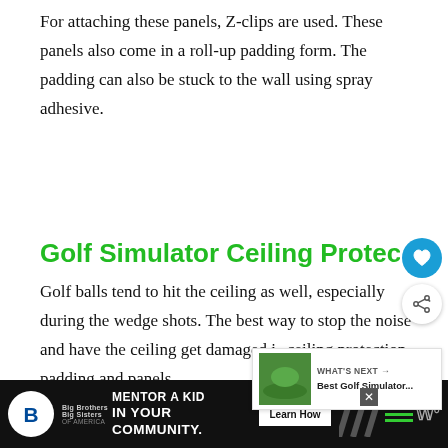For attaching these panels, Z-clips are used. These panels also come in a roll-up padding form. The padding can also be stuck to the wall using spray adhesive.
Golf Simulator Ceiling Protection
Golf balls tend to hit the ceiling as well, especially during the wedge shots. The best way to stop the noise and have the ceiling get damaged is ceiling protection padding and panels.
[Figure (screenshot): WHAT'S NEXT card showing thumbnail of golf simulator image with text 'Best Golf Simulator...']
[Figure (infographic): Advertisement bar: Big Brothers Big Sisters 'MENTOR A KID IN YOUR COMMUNITY' with Learn How button]